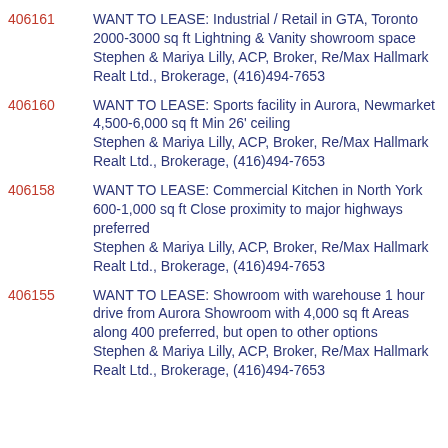406161 WANT TO LEASE: Industrial / Retail in GTA, Toronto 2000-3000 sq ft Lightning & Vanity showroom space Stephen & Mariya Lilly, ACP, Broker, Re/Max Hallmark Realt Ltd., Brokerage, (416)494-7653
406160 WANT TO LEASE: Sports facility in Aurora, Newmarket 4,500-6,000 sq ft Min 26' ceiling Stephen & Mariya Lilly, ACP, Broker, Re/Max Hallmark Realt Ltd., Brokerage, (416)494-7653
406158 WANT TO LEASE: Commercial Kitchen in North York 600-1,000 sq ft Close proximity to major highways preferred Stephen & Mariya Lilly, ACP, Broker, Re/Max Hallmark Realt Ltd., Brokerage, (416)494-7653
406155 WANT TO LEASE: Showroom with warehouse 1 hour drive from Aurora Showroom with 4,000 sq ft Areas along 400 preferred, but open to other options Stephen & Mariya Lilly, ACP, Broker, Re/Max Hallmark Realt Ltd., Brokerage, (416)494-7653